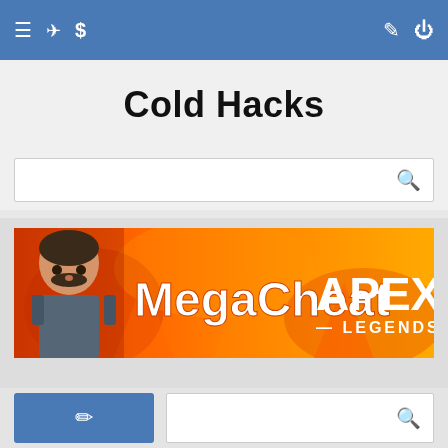Navigation bar with menu, location, dollar, edit, and power icons
Cold Hacks
[Figure (screenshot): Search input box with magnifying glass icon on the right]
[Figure (infographic): MegaCheat Apex Legends banner advertisement with orange fire background, bearded character on the left, 'MegaCheat' text in large white bold font, 'APEX LEGENDS' text on right side]
Bottom bar with blue edit/pencil button on left and search box with magnifying glass on right